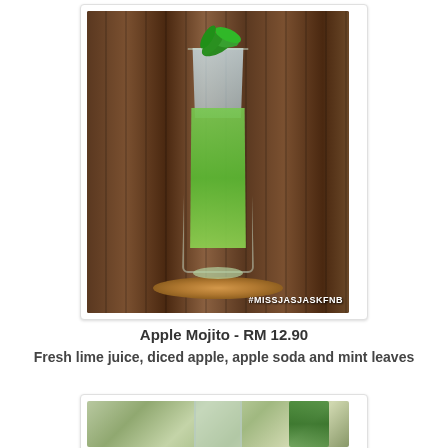[Figure (photo): Photo of an Apple Mojito drink in a tall glass filled with green liquid, ice, and mint leaves, placed on a cork coaster on a wooden table. Hashtag #MISSJASJASKFNB visible in bottom right corner.]
Apple Mojito - RM 12.90
Fresh lime juice, diced apple, apple soda and mint leaves
[Figure (photo): Partial photo of another drink in a glass with mint leaves, cut off at the bottom of the page.]